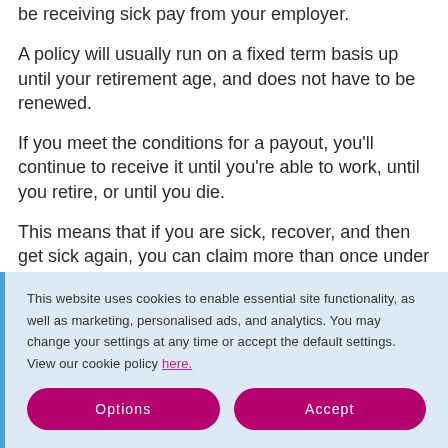be receiving sick pay from your employer.
A policy will usually run on a fixed term basis up until your retirement age, and does not have to be renewed.
If you meet the conditions for a payout, you’ll continue to receive it until you’re able to work, until you retire, or until you die.
This means that if you are sick, recover, and then get sick again, you can claim more than once under the same policy!
This website uses cookies to enable essential site functionality, as well as marketing, personalised ads, and analytics. You may change your settings at any time or accept the default settings. View our cookie policy here.